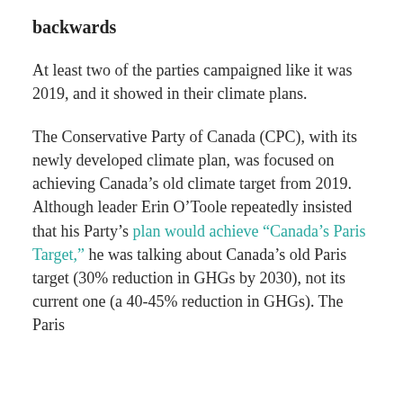backwards
At least two of the parties campaigned like it was 2019, and it showed in their climate plans.
The Conservative Party of Canada (CPC), with its newly developed climate plan, was focused on achieving Canada's old climate target from 2019. Although leader Erin O'Toole repeatedly insisted that his Party's plan would achieve “Canada’s Paris Target,” he was talking about Canada’s old Paris target (30% reduction in GHGs by 2030), not its current one (a 40-45% reduction in GHGs). The Paris